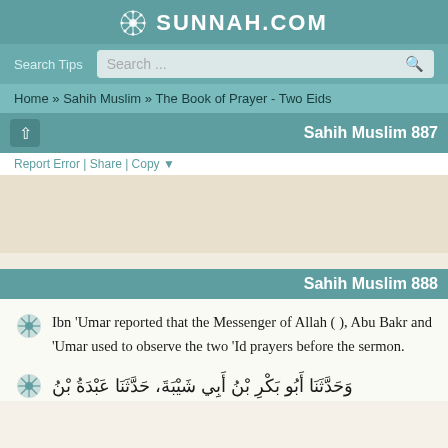SUNNAH.COM
Search Tips  Search ...
Home » Sahih Muslim » The Book of Prayer - Two Eids
Sahih Muslim 887
Report Error | Share | Copy
[Figure (other): Arabic text block for Sahih Muslim 887]
Sahih Muslim 888
Ibn 'Umar reported that the Messenger of Allah ( ), Abu Bakr and 'Umar used to observe the two 'Id prayers before the sermon.
Arabic text: وَحَدَّثَنَا أَبُو بَكْرِ بْنُ أَبِي شَيْبَةَ، حَدَّثَنَا عَبْدَةُ بْنُ